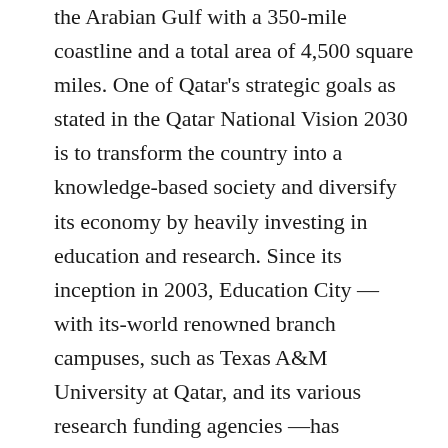the Arabian Gulf with a 350-mile coastline and a total area of 4,500 square miles. One of Qatar's strategic goals as stated in the Qatar National Vision 2030 is to transform the country into a knowledge-based society and diversify its economy by heavily investing in education and research. Since its inception in 2003, Education City —with its-world renowned branch campuses, such as Texas A&M University at Qatar, and its various research funding agencies —has transformed the education system and research culture in the country noticeably. Texas A&M commands an international reputation as one of the world's premier engineering programs, and Texas A&M University at Qatar builds on that esteem. During the past 13 years, the research program at Texas A&M University at Qatar has grown to a cumulative funding level of $224 million